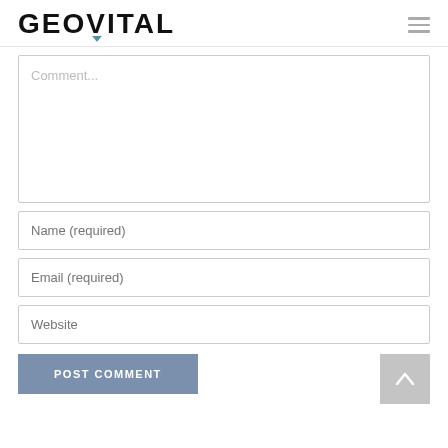GEOVITAL
[Figure (screenshot): Comment form with textarea placeholder 'Comment...', input fields for Name (required), Email (required), Website, a POST COMMENT button, and a scroll-to-top arrow button]
Comment...
Name (required)
Email (required)
Website
POST COMMENT